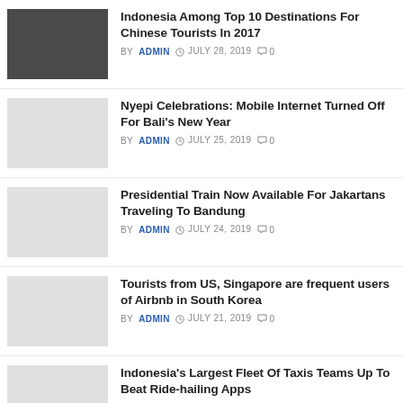Indonesia Among Top 10 Destinations For Chinese Tourists In 2017 — BY ADMIN — JULY 28, 2019 — 0 comments
Nyepi Celebrations: Mobile Internet Turned Off For Bali's New Year — BY ADMIN — JULY 25, 2019 — 0 comments
Presidential Train Now Available For Jakartans Traveling To Bandung — BY ADMIN — JULY 24, 2019 — 0 comments
Tourists from US, Singapore are frequent users of Airbnb in South Korea — BY ADMIN — JULY 21, 2019 — 0 comments
Indonesia's Largest Fleet Of Taxis Teams Up To Beat Ride-hailing Apps — BY ADMIN — JULY 20, 2019 — 0 comments
Thousands of peoples leaving Bali via port to skip ...